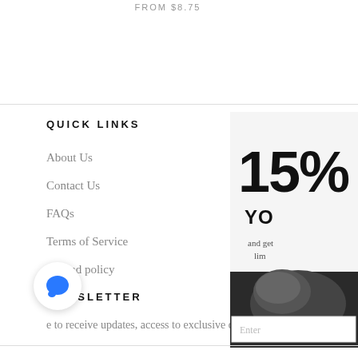FROM $8.75
QUICK LINKS
About Us
Contact Us
FAQs
Terms of Service
Refund policy
NEWSLETTER
e to receive updates, access to exclusive deals, a...
[Figure (infographic): Promotional popup showing 15% discount offer with product image, 'YO' text, 'and get lim' text, and email input field]